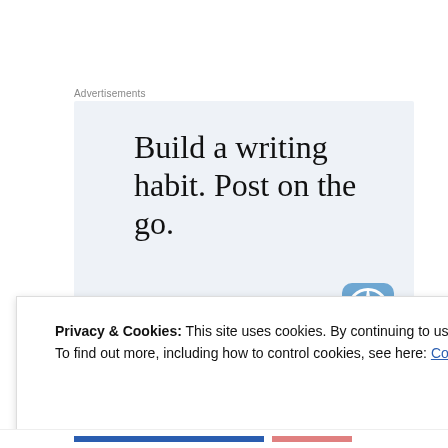Advertisements
[Figure (illustration): WordPress advertisement with light blue background. Large serif text reads 'Build a writing habit. Post on the go.' with a 'GET THE APP' call-to-action link and WordPress circular logo at bottom right.]
Privacy & Cookies: This site uses cookies. By continuing to use this website, you agree to their use.
To find out more, including how to control cookies, see here: Cookie Policy
Close and accept